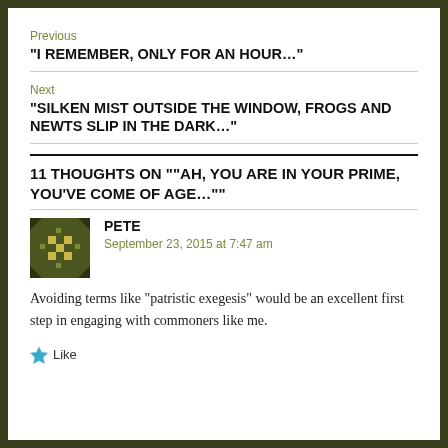Previous
“I REMEMBER, ONLY FOR AN HOUR…”
Next
“SILKEN MIST OUTSIDE THE WINDOW, FROGS AND NEWTS SLIP IN THE DARK…”
11 THOUGHTS ON ““AH, YOU ARE IN YOUR PRIME, YOU’VE COME OF AGE…””
PETE
September 23, 2015 at 7:47 am
Avoiding terms like “patristic exegesis” would be an excellent first step in engaging with commoners like me.
Like